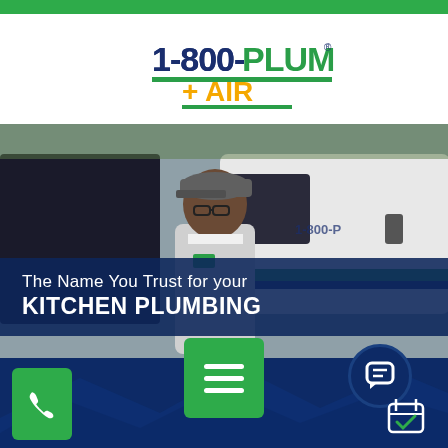[Figure (logo): 1-800-PLUMBER + AIR logo with dark blue 1-800-PLUMBER text and green underline, and orange +AIR text with green underline]
[Figure (photo): A plumber in a white uniform shirt and gray cap standing in front of a 1-800-Plumber branded white van, looking to the side]
The Name You Trust for your KITCHEN PLUMBING
[Figure (infographic): Bottom navigation bar with green phone button on left, large green hamburger menu button in center, dark blue chat bubble circle on right, and calendar icon on bottom right]